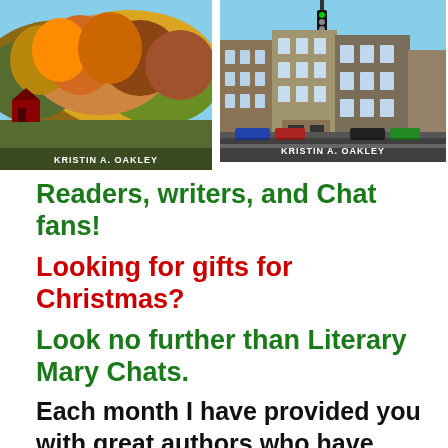[Figure (photo): Book cover photo showing autumn forest landscape with the text KRISTIN A. OAKLEY at the bottom]
[Figure (photo): Book cover photo showing a small town street scene with the text KRISTIN A. OAKLEY at the bottom]
Readers, writers, and Chat fans!
Looking for gifts for Christmas?
Look no further than Literary Mary Chats.
Each month I have provided you with great authors who have written terrific books. Romance, sci-fi, supernatural